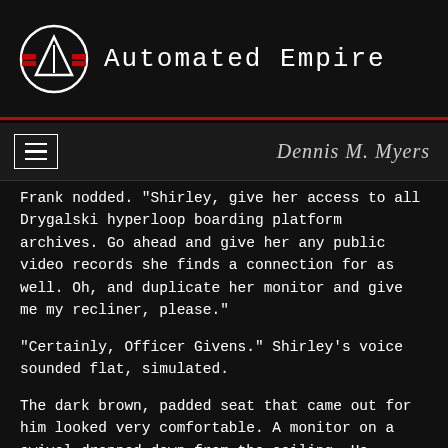Automated Empire
Dennis M. Myers
Frank nodded. "Shirley, give her access to all Drygalski hyperloop boarding platform archives. Go ahead and give her any public video records she finds a connection for as well. Oh, and duplicate her monitor and give me my recliner, please."
"Certainly, Officer Givens." Shirley's voice sounded flat, simulated.
The dark brown, padded seat that came out for him looked very comfortable. A monitor on a swivel dropped down from the ceiling. He hopped in with practiced ease. "You may proceed."
"Thank you." Miku swiped the display and started poking around and smiled at finding the standard setup. She made